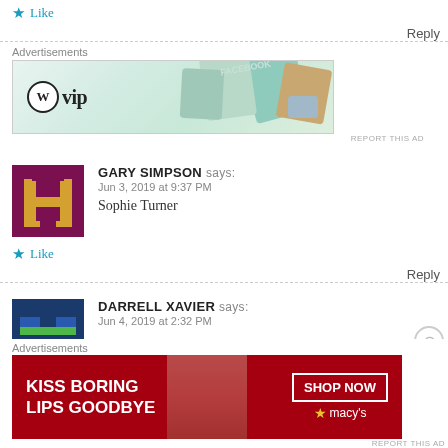Like
Reply
Advertisements
[Figure (screenshot): WordPress VIP advertisement banner with 'Learn more →' button and background showing social media / stock imagery cards]
REPORT THIS AD
GARY SIMPSON says: Jun 3, 2019 at 9:37 PM
Sophie Turner
Like
Reply
DARRELL XAVIER says: Jun 4, 2019 at 2:32 PM
Advertisements
[Figure (screenshot): Macy's advertisement banner: KISS BORING LIPS GOODBYE with SHOP NOW button and Macy's star logo]